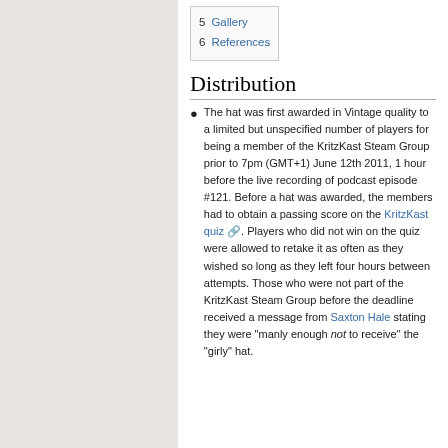5 Gallery
6 References
Distribution
The hat was first awarded in Vintage quality to a limited but unspecified number of players for being a member of the KritzKast Steam Group prior to 7pm (GMT+1) June 12th 2011, 1 hour before the live recording of podcast episode #121. Before a hat was awarded, the members had to obtain a passing score on the KritzKast quiz. Players who did not win on the quiz were allowed to retake it as often as they wished so long as they left four hours between attempts. Those who were not part of the KritzKast Steam Group before the deadline received a message from Saxton Hale stating they were "manly enough not to receive" the "girly" hat.